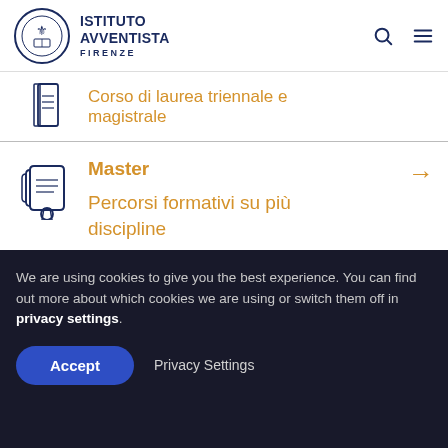[Figure (logo): Istituto Avventista Firenze logo with circular emblem and text]
Corso di laurea magistrale (partially visible, top)
Master
Percorsi formativi su più discipline
We are using cookies to give you the best experience. You can find out more about which cookies we are using or switch them off in privacy settings.
Accept
Privacy Settings